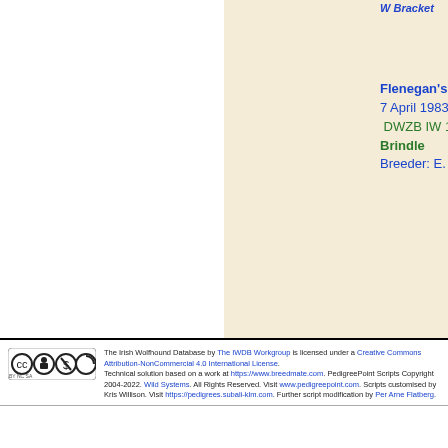[Figure (other): Partial pedigree chart showing ancestor columns. Col 4 shows: dog name (partially visible 'W Bracket'), then lower entry: 'Flenegan's Abbey', '7 April 1983', 'DWZB IW 1541 Gre', 'Brindle', 'Breeder: E. Schmid']
The Irish Wolfhound Database by The IWDB Workgroup is licensed under a Creative Commons Attribution-NonCommercial 4.0 International License. Technical solution based on a work at https://www.breedmate.com. PedigreePoint Scripts Copyright 2004-2022. Wild Systems. All Rights Reserved. Visit www.pedigreepoint.com. Scripts customised by Kris Willison. Visit https://pedigrees.subali-klm.com. Further script modification by Per Arne Flatberg.